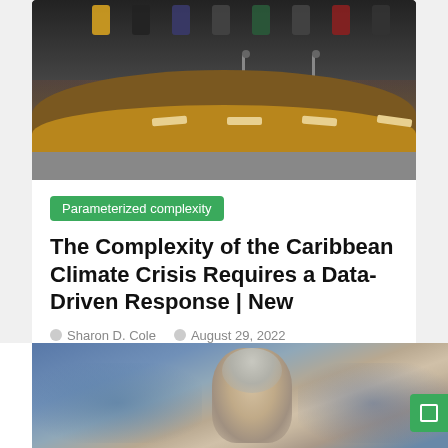[Figure (photo): Conference room with a curved wooden table and people seated behind it in the background, overhead view showing a large arc-shaped table with name placards]
Parameterized complexity
The Complexity of the Caribbean Climate Crisis Requires a Data-Driven Response | New
Sharon D. Cole   August 29, 2022
[Figure (photo): Close-up photo of a person with light-colored hair, appears to be a sports or news context, with a green button overlay in the bottom right corner]